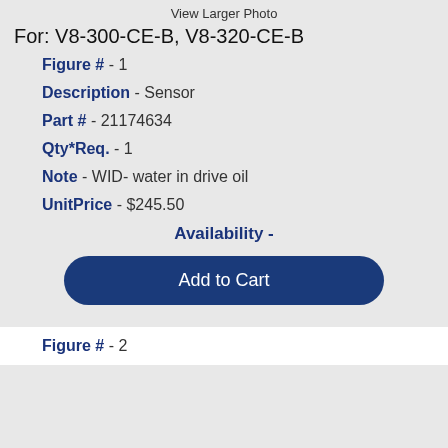View Larger Photo
For: V8-300-CE-B, V8-320-CE-B
Figure # - 1
Description - Sensor
Part # - 21174634
Qty*Req. - 1
Note - WID- water in drive oil
UnitPrice - $245.50
Availability -
Add to Cart
Figure # - 2